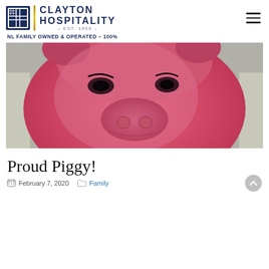[Figure (logo): Clayton Hospitality logo with blue grid icon, gold vertical divider, and company name 'CLAYTON HOSPITALITY - EST. 1968 -']
NL FAMILY OWNED & OPERATED – 100%
[Figure (photo): Close-up photo of a large pink stuffed pig plush toy with embroidered face (eyes, snout with nostrils), sitting on a light-colored surface]
Proud Piggy!
February 7, 2020
Family